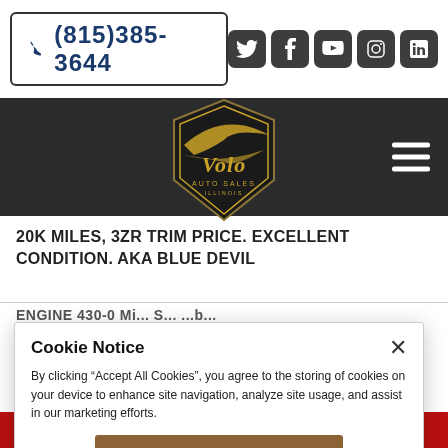(815)385-3644
[Figure (logo): Volo Auto Sales Illinois logo in gold/black shield design]
20K MILES, 3ZR TRIM PRICE. EXCELLENT CONDITION. AKA BLUE DEVIL
ENGINE 430-0 Mi... S... ...b...
Cookie Notice
By clicking "Accept All Cookies", you agree to the storing of cookies on your device to enhance site navigation, analyze site usage, and assist in our marketing efforts.
Accept All Cookies
Cookies Settings